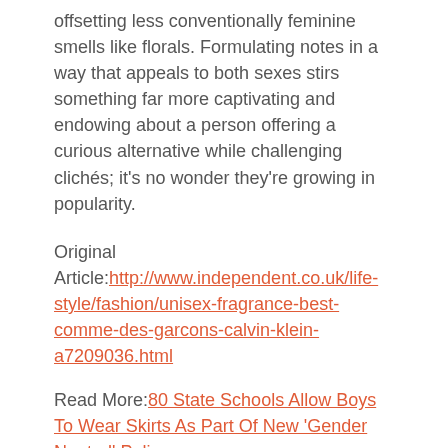offsetting less conventionally feminine smells like florals. Formulating notes in a way that appeals to both sexes stirs something far more captivating and endowing about a person offering a curious alternative while challenging clichés; it's no wonder they're growing in popularity.
Original Article: http://www.independent.co.uk/life-style/fashion/unisex-fragrance-best-comme-des-garcons-calvin-klein-a7209036.html
Read More: 80 State Schools Allow Boys To Wear Skirts As Part Of New 'Gender Neutral' Policy
Read More: Goodbye Boys And Girls; Gender-Neutral Kids Clothing Start-Ups Are Going To Change How Kids Dress